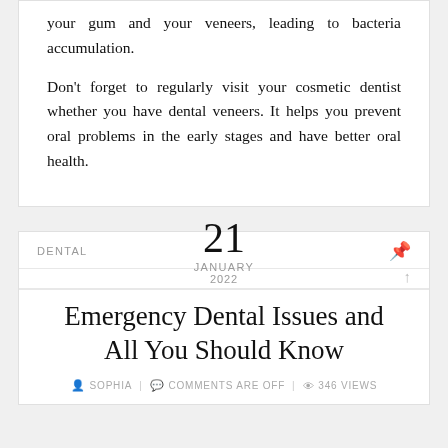your gum and your veneers, leading to bacteria accumulation.
Don't forget to regularly visit your cosmetic dentist whether you have dental veneers. It helps you prevent oral problems in the early stages and have better oral health.
DENTAL  21  JANUARY  2022
Emergency Dental Issues and All You Should Know
SOPHIA  |  COMMENTS ARE OFF  |  346 VIEWS